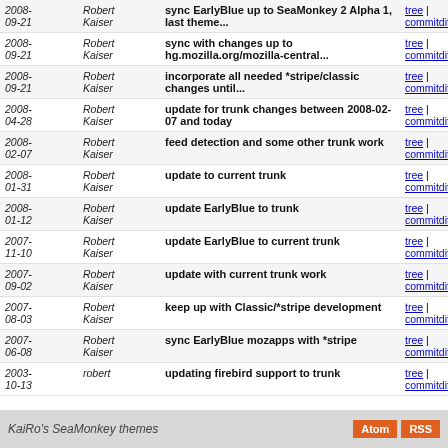| Date | Author | Description | Links |
| --- | --- | --- | --- |
| 2008-09-21 | Robert Kaiser | sync EarlyBlue up to SeaMonkey 2 Alpha 1, last theme... | tree | commitdiff |
| 2008-09-21 | Robert Kaiser | sync with changes up to hg.mozilla.org/mozilla-central... | tree | commitdiff |
| 2008-09-21 | Robert Kaiser | incorporate all needed *stripe/classic changes until... | tree | commitdiff |
| 2008-04-28 | Robert Kaiser | update for trunk changes between 2008-02-07 and today | tree | commitdiff |
| 2008-02-07 | Robert Kaiser | feed detection and some other trunk work | tree | commitdiff |
| 2008-01-31 | Robert Kaiser | update to current trunk | tree | commitdiff |
| 2008-01-12 | Robert Kaiser | update EarlyBlue to trunk | tree | commitdiff |
| 2007-11-10 | Robert Kaiser | update EarlyBlue to current trunk | tree | commitdiff |
| 2007-09-02 | Robert Kaiser | update with current trunk work | tree | commitdiff |
| 2007-08-03 | Robert Kaiser | keep up with Classic/*stripe development | tree | commitdiff |
| 2007-06-08 | Robert Kaiser | sync EarlyBlue mozapps with *stripe | tree | commitdiff |
| 2003-10-13 | robert | updating firebird support to trunk | tree | commitdiff |
KaiRo's SeaMonkey themes